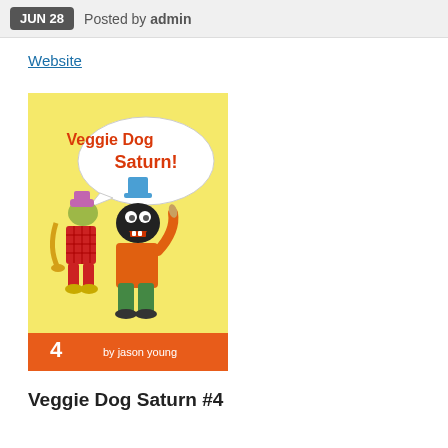JUN 28  Posted by admin
Website
[Figure (illustration): Book cover of 'Veggie Dog Saturn! #4' by Jason Young. Yellow background with two cartoon characters — one wearing a purple beret and red plaid suit playing a saxophone, and one with a black beard wearing a blue top hat and orange jacket pointing upward. A speech bubble reads 'Veggie Dog Saturn!' An orange banner at the bottom shows the number 4 and the text 'by jason young'.]
Veggie Dog Saturn #4